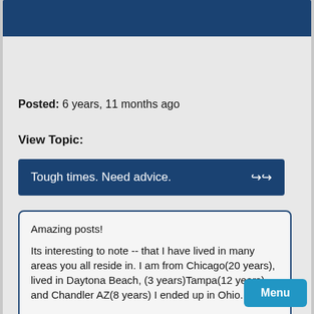Posted:  6 years, 11 months ago
View Topic:
Tough times. Need advice.
Amazing posts!

Its interesting to note -- that I have lived in many areas you all reside in. I am from Chicago(20 years), lived in Daytona Beach, (3 years)Tampa(12 years), and Chandler AZ(8 years) I ended up in Ohio.
Menu